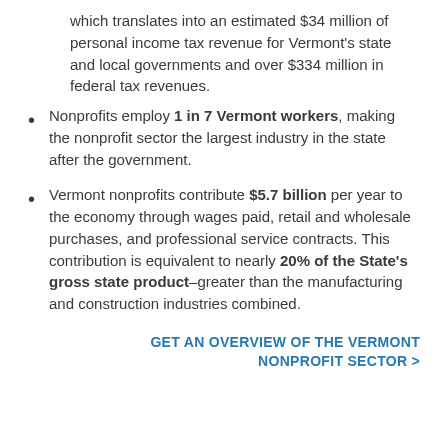which translates into an estimated $34 million of personal income tax revenue for Vermont's state and local governments and over $334 million in federal tax revenues.
Nonprofits employ 1 in 7 Vermont workers, making the nonprofit sector the largest industry in the state after the government.
Vermont nonprofits contribute $5.7 billion per year to the economy through wages paid, retail and wholesale purchases, and professional service contracts. This contribution is equivalent to nearly 20% of the State's gross state product–greater than the manufacturing and construction industries combined.
GET AN OVERVIEW OF THE VERMONT NONPROFIT SECTOR >